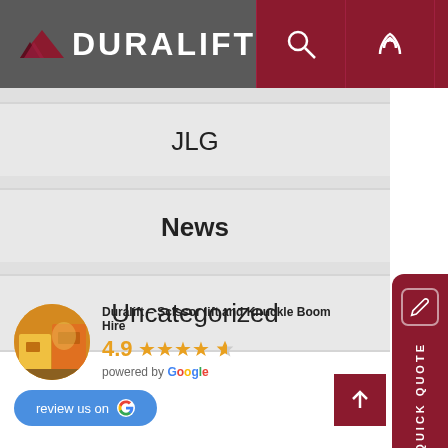DURALIFT
JLG
News
Uncategorized
Duralift – Scissor lift and Knuckle Boom Hire
4.9 ★★★★☆ powered by Google
review us on Google